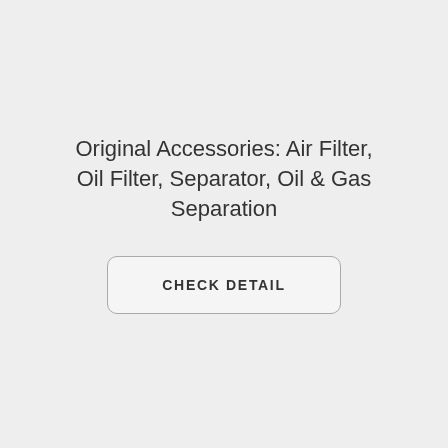Original Accessories: Air Filter, Oil Filter, Separator, Oil & Gas Separation
CHECK DETAIL